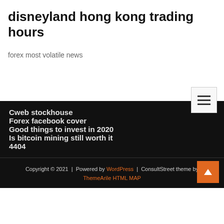disneyland hong kong trading hours
forex most volatile news
Cweb stockhouse
Forex facebook cover
Good things to invest in 2020
Is bitcoin mining still worth it
4404
Copyright © 2021  |  Powered by WordPress  |  ConsultStreet theme by ThemeArile HTML MAP